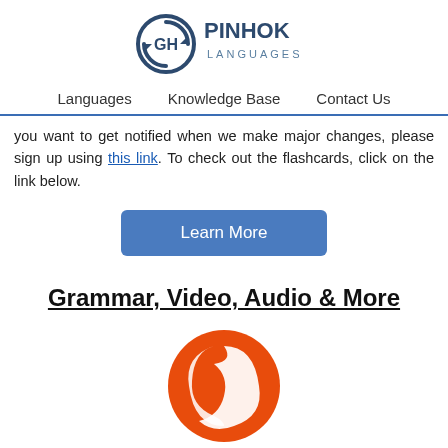PINHOK LANGUAGES
Languages   Knowledge Base   Contact Us
you want to get notified when we make major changes, please sign up using this link. To check out the flashcards, click on the link below.
[Figure (other): Learn More button — blue rounded rectangle with white text]
Grammar, Video, Audio & More
[Figure (logo): Orange and white circular logo with stylized letter D]